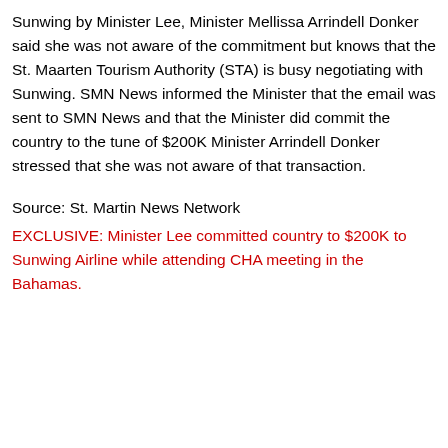Sunwing by Minister Lee, Minister Mellissa Arrindell Donker said she was not aware of the commitment but knows that the St. Maarten Tourism Authority (STA) is busy negotiating with Sunwing. SMN News informed the Minister that the email was sent to SMN News and that the Minister did commit the country to the tune of $200K Minister Arrindell Donker stressed that she was not aware of that transaction.
Source: St. Martin News Network
EXCLUSIVE: Minister Lee committed country to $200K to Sunwing Airline while attending CHA meeting in the Bahamas.